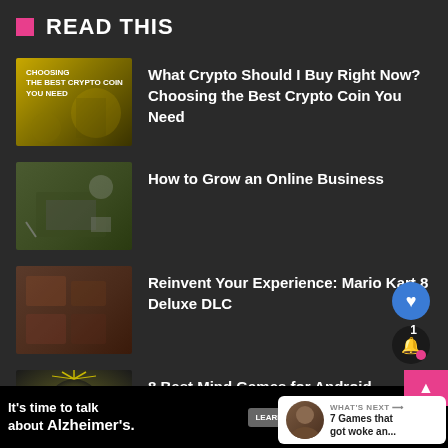READ THIS
What Crypto Should I Buy Right Now? Choosing the Best Crypto Coin You Need
How to Grow an Online Business
Reinvent Your Experience: Mario Kart 8 Deluxe DLC
8 Best Mind Games for Android
[Figure (screenshot): Advertisement banner: It's time to talk about Alzheimer's. with Learn More button and Alzheimer's Association logo]
WHAT'S NEXT → 7 Games that got woke an...